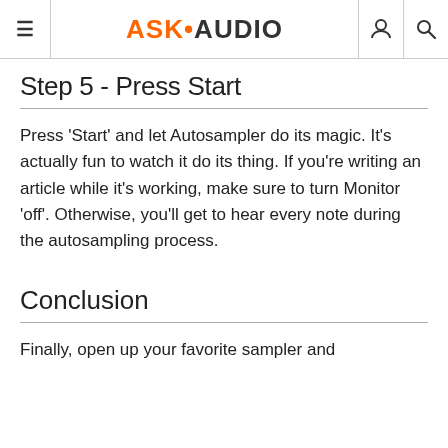ASK•AUDIO
Step 5 - Press Start
Press 'Start' and let Autosampler do its magic. It's actually fun to watch it do its thing. If you're writing an article while it's working, make sure to turn Monitor 'off'. Otherwise, you'll get to hear every note during the autosampling process.
Conclusion
Finally, open up your favorite sampler and